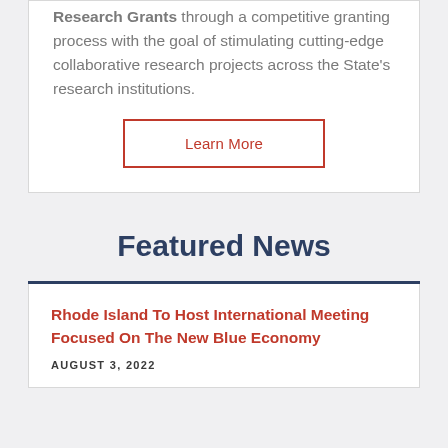Research Grants through a competitive granting process with the goal of stimulating cutting-edge collaborative research projects across the State's research institutions.
Learn More
Featured News
Rhode Island To Host International Meeting Focused On The New Blue Economy
AUGUST 3, 2022